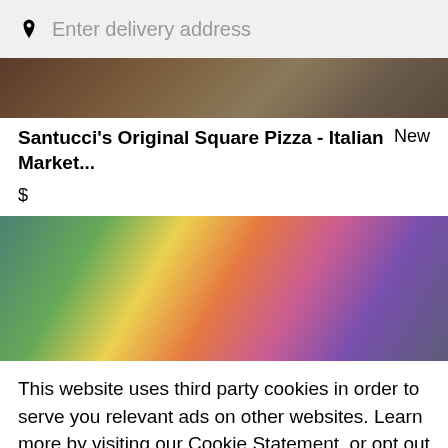Enter delivery address
[Figure (photo): Top portion of a food image showing pizza or food items, dark brownish tones]
Santucci's Original Square Pizza - Italian Market...   New
$
[Figure (photo): Colorful food image with bright yellows, pinks, greens, and blues — appears to be decorative pizzas or food items]
This website uses third party cookies in order to serve you relevant ads on other websites. Learn more by visiting our Cookie Statement, or opt out of third party ad cookies using the button below.
Opt out   Got it